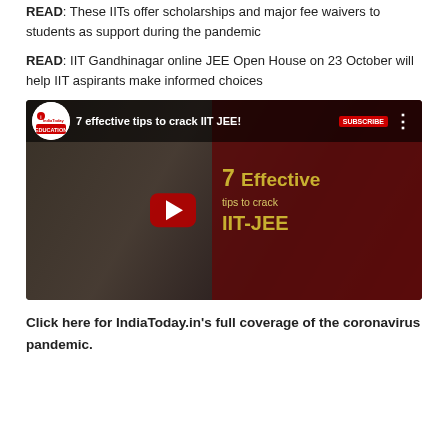READ: These IITs offer scholarships and major fee waivers to students as support during the pandemic
READ: IIT Gandhinagar online JEE Open House on 23 October will help IIT aspirants make informed choices
[Figure (screenshot): YouTube video thumbnail titled '7 effective tips to crack IIT JEE!' from IndiaToday Education channel, showing a student studying with books, a red play button in the center, and dark red overlay on the right with text '7 Effective tips to crack IIT-JEE' in gold/yellow color.]
Click here for IndiaToday.in's full coverage of the coronavirus pandemic.